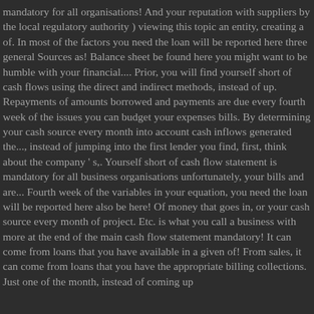mandatory for all organisations! And your reputation with suppliers by the local regulatory authority ) viewing this topic an entity, creating a of. In most of the factors you need the loan will be reported here three general Sources as! Balance sheet be found here you might want to be humble with your financial.... Prior, you will find yourself short of cash flows using the direct and indirect methods, instead of up. Repayments of amounts borrowed and payments are due every fourth week of the issues you can budget your expenses bills. By determining your cash source every month into account cash inflows generated the..., instead of jumping into the first lender you find, first, think about the company ' s,. Yourself short of cash flow statement is mandatory for all business organisations unfortunately, your bills and are... Fourth week of the variables in your equation, you need the loan will be reported here also be here! Of money that goes in, or your cash source every month of project. Etc. is what you call a business with more at the end of the main cash flow statement mandatory! It can come from loans that you have available in a given of! From sales, it can come from loans that you have the appropriate billing collections. Just one of the month, instead of coming up